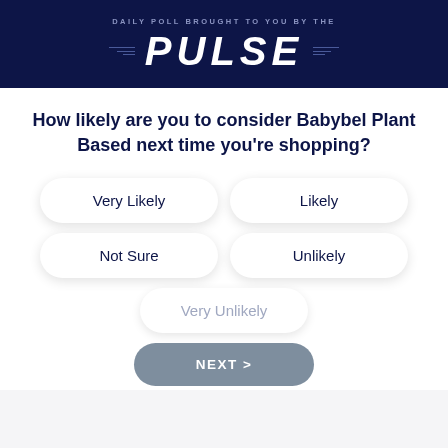DAILY POLL BROUGHT TO YOU BY THE PULSE
How likely are you to consider Babybel Plant Based next time you're shopping?
Very Likely
Likely
Not Sure
Unlikely
Very Unlikely
NEXT >